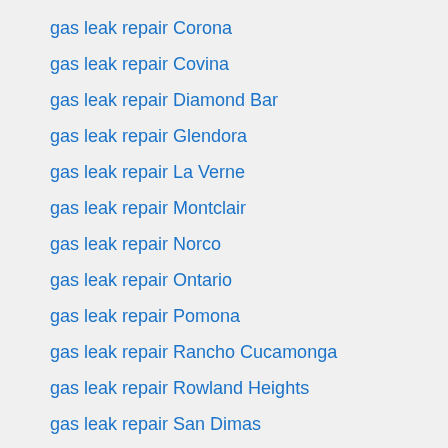gas leak repair Corona
gas leak repair Covina
gas leak repair Diamond Bar
gas leak repair Glendora
gas leak repair La Verne
gas leak repair Montclair
gas leak repair Norco
gas leak repair Ontario
gas leak repair Pomona
gas leak repair Rancho Cucamonga
gas leak repair Rowland Heights
gas leak repair San Dimas
gas leak repair Upland
gas leak repair Walnut
gas leak repair West Covina